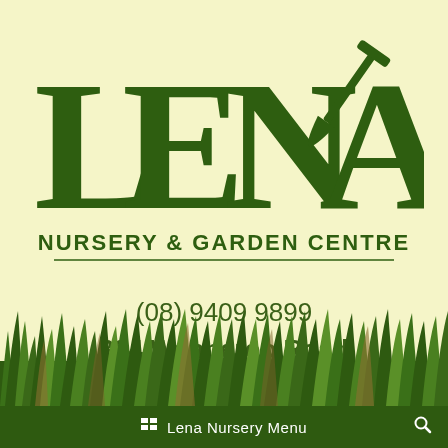[Figure (logo): LENA Nursery & Garden Centre logo in dark green on cream background, large serif letters LENA with trowel/shovel graphic integrated into the A, subtitle NURSERY & GARDEN CENTRE below]
(08) 9409 9899
384 Wanneroo Road
WANGARA WA 6077
T-Junction of
Whitfords Avenue and Wanneroo Road
[Figure (illustration): Silhouette of grass and shrubs in green and brown tones at the bottom of the page]
Lena Nursery Menu